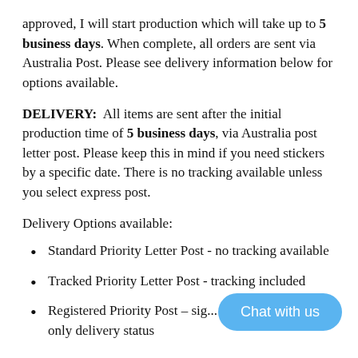approved, I will start production which will take up to 5 business days. When complete, all orders are sent via Australia Post. Please see delivery information below for options available.
DELIVERY: All items are sent after the initial production time of 5 business days, via Australia post letter post. Please keep this in mind if you need stickers by a specific date. There is no tracking available unless you select express post.
Delivery Options available:
Standard Priority Letter Post - no tracking available
Tracked Priority Letter Post - tracking included
Registered Priority Post – sig... delivery, no tracking only delivery status